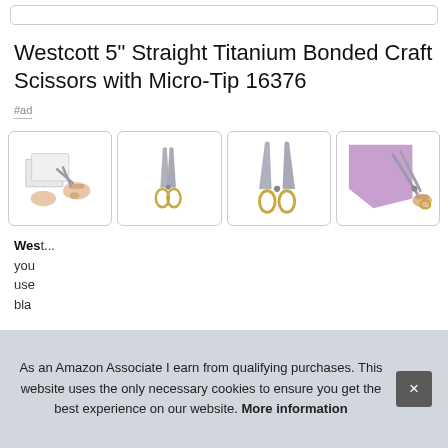Westcott 5" Straight Titanium Bonded Craft Scissors with Micro-Tip 16376
#ad
[Figure (photo): Four product images of Westcott craft scissors: 1) hands cutting paper, 2) scissors closed front view, 3) scissors open front view, 4) hand cutting purple paper]
Wes... your... use... blac...
As an Amazon Associate I earn from qualifying purchases. This website uses the only necessary cookies to ensure you get the best experience on our website. More information